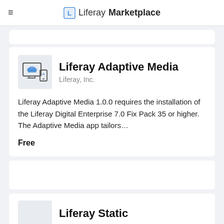Liferay Marketplace
[Figure (screenshot): Liferay Adaptive Media app listing card showing app icon (monitor with cloud and mobile), app name 'Liferay Adaptive Media', publisher 'Liferay, Inc.', description text, and price 'Free']
Liferay Adaptive Media
Liferay, Inc.
Liferay Adaptive Media 1.0.0 requires the installation of the Liferay Digital Enterprise 7.0 Fix Pack 35 or higher. The Adaptive Media app tailors...
Free
Liferay Static